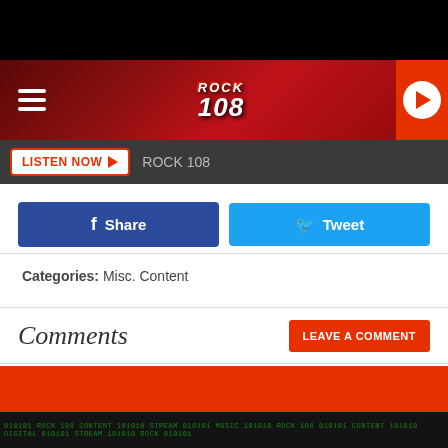ROCK 108 header with hamburger menu, logo, and play button
LISTEN NOW  ROCK 108
[Figure (screenshot): Facebook Share button (dark blue) and Twitter Tweet button (light blue)]
Categories: Misc. Content
Comments
LEAVE A COMMENT
YOU MAY LIKE  SPONSORED LINKS
[Figure (screenshot): Dark banner with green matrix-style text pattern]